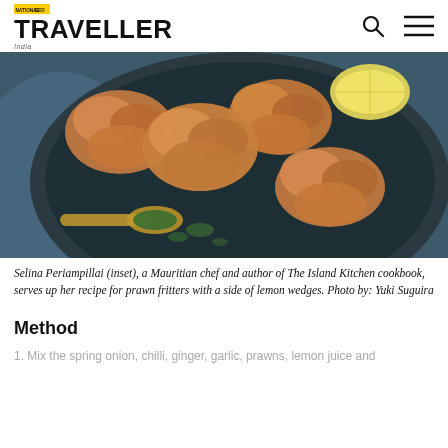National Geographic TRAVELLER
[Figure (photo): Overhead photo of fried prawn fritters on a dark blue plate with a spoon of green herb sauce and a lemon wedge, on a blue cloth background.]
Selina Periampillai (inset), a Mauritian chef and author of The Island Kitchen cookbook, serves up her recipe for prawn fritters with a side of lemon wedges. Photo by: Yuki Suguira
Method
1. Mix the spring onion, chilli, ginger, garlic, prawns, lemon juice and